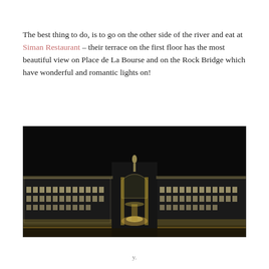The best thing to do, is to go on the other side of the river and eat at Siman Restaurant – their terrace on the first floor has the most beautiful view on Place de La Bourse and on the Rock Bridge which have wonderful and romantic lights on!
[Figure (photo): Night photograph of Place de La Bourse in Bordeaux, showing illuminated classical French architecture with a ornamental fountain in the center, flanked by two large neoclassical buildings, all lit up against a dark night sky.]